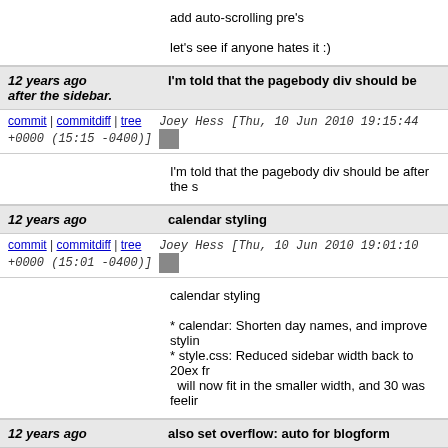add auto-scrolling pre's

let's see if anyone hates it :)
12 years ago  I'm told that the pagebody div should be after the sidebar.
commit | commitdiff | tree   Joey Hess [Thu, 10 Jun 2010 19:15:44 +0000 (15:15 -0400)]
I'm told that the pagebody div should be after the s
12 years ago  calendar styling
commit | commitdiff | tree   Joey Hess [Thu, 10 Jun 2010 19:01:10 +0000 (15:01 -0400)]
calendar styling

* calendar: Shorten day names, and improve stylin
* style.css: Reduced sidebar width back to 20ex fr  will now fit in the smaller width, and 30 was feelir
12 years ago  also set overflow: auto for blogform
commit | commitdiff | tree   Joey Hess [Thu, 10 Jun 2010 18:31:01